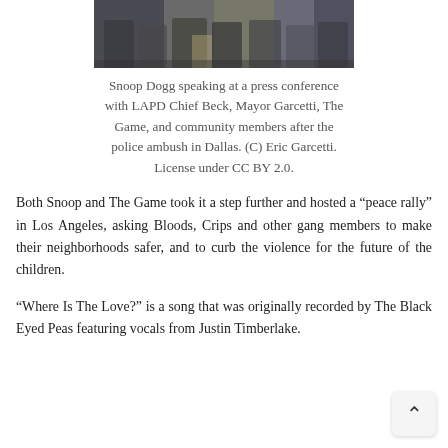[Figure (photo): Photograph of Snoop Dogg speaking at a press conference with LAPD Chief Beck, Mayor Garcetti, The Game, and community members, cropped to show upper portion of group.]
Snoop Dogg speaking at a press conference with LAPD Chief Beck, Mayor Garcetti, The Game, and community members after the police ambush in Dallas. (C) Eric Garcetti. License under CC BY 2.0.
Both Snoop and The Game took it a step further and hosted a “peace rally” in Los Angeles, asking Bloods, Crips and other gang members to make their neighborhoods safer, and to curb the violence for the future of the children.
“Where Is The Love?” is a song that was originally recorded by The Black Eyed Peas featuring vocals from Justin Timberlake.